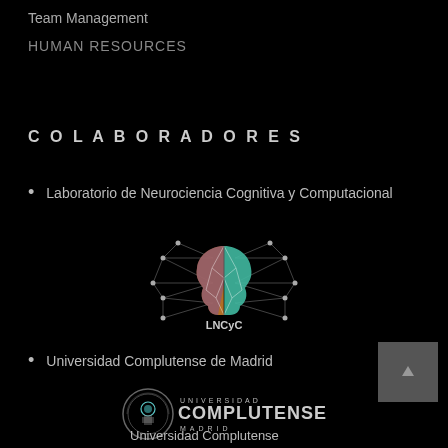Team Management
HUMAN RESOURCES
COLABORADORES
Laboratorio de Neurociencia Cognitiva y Computacional
[Figure (logo): LNCyC logo — stylized brain split between orange/purple and teal geometric halves with neural network dots and lines, labeled LNCyC below]
Universidad Complutense de Madrid
[Figure (logo): Universidad Complutense de Madrid logo — circular seal on left with text UNIVERSIDAD COMPLUTENSE MADRID on right, and caption Universidad Complutense below]